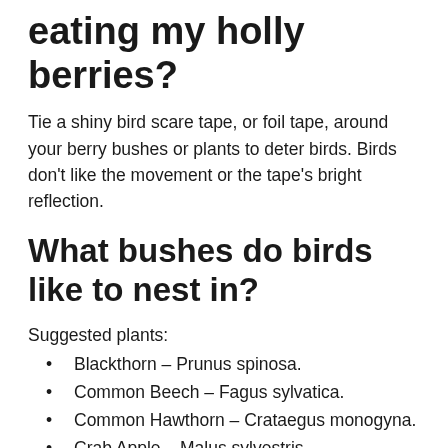eating my holly berries?
Tie a shiny bird scare tape, or foil tape, around your berry bushes or plants to deter birds. Birds don't like the movement or the tape's bright reflection.
What bushes do birds like to nest in?
Suggested plants:
Blackthorn – Prunus spinosa.
Common Beech – Fagus sylvatica.
Common Hawthorn – Crataegus monogyna.
Crab Apple – Malus sylvestris.
Field Maple – Acer campestre.